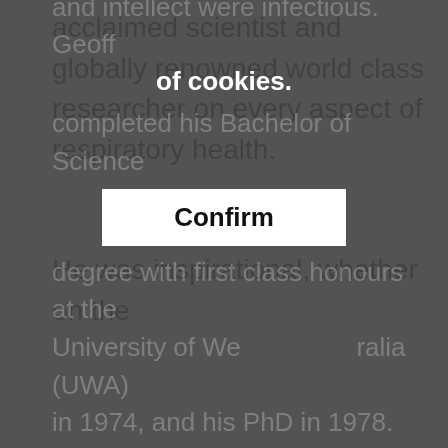acclaimed scientist and globally renowned world class researcher on every aspect of respiratory health.
He was inspirational, whether on the sporting field (football, golf, cycling to by the latest technology, and his curiosity and intellect were infectious. Geoff completed his Bachelor of Science degree with first class honours at the University of Western Australia (UWA) in 1974, and his PhD in 1978.
[Figure (screenshot): Cookie consent overlay with dark semi-transparent background. Bold white text reads: 'Cookies help us improve your website experience.' and 'By using our website, you agree to our use of cookies.' A white 'Confirm' button is centered below. An X close button is in the top right corner.]